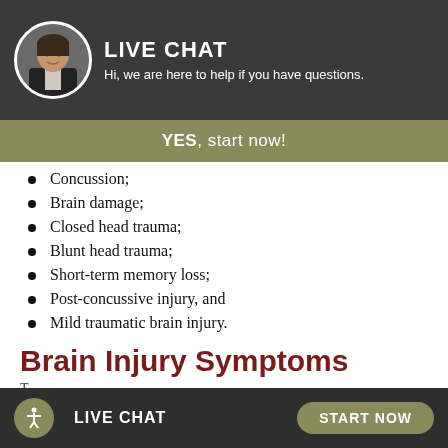[Figure (screenshot): Live chat banner with woman's photo avatar, bold LIVE CHAT heading, and subtitle 'Hi, we are here to help if you have questions.']
YES, start now!
Concussion;
Brain damage;
Closed head trauma;
Blunt head trauma;
Short-term memory loss;
Post-concussive injury, and
Mild traumatic brain injury.
Brain Injury Symptoms
T...
LIVE CHAT   START NOW